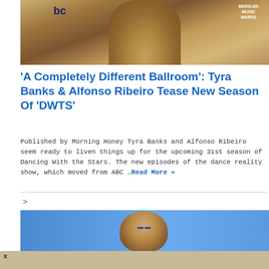[Figure (photo): Photo of Tyra Banks at American Music Awards red carpet, wearing a tan/camel blazer with long blonde hair, ABC logo visible]
'A Completely Different Ballroom': Tyra Banks & Alfonso Ribeiro Tease New Season Of 'DWTS'
Published by Morning Honey Tyra Banks and Alfonso Ribeiro seem ready to liven things up for the upcoming 31st season of Dancing With the Stars. The new episodes of the dance reality show, which moved from ABC …Read More »
[Figure (photo): Photo of a man (Alfonso Ribeiro) with glasses against a blue UN-style backdrop]